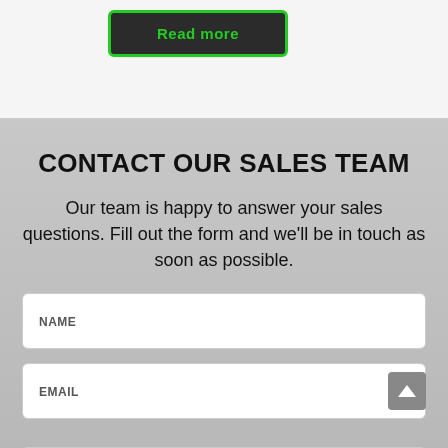[Figure (screenshot): A dark button with green border and green text reading 'Read more']
CONTACT OUR SALES TEAM
Our team is happy to answer your sales questions. Fill out the form and we'll be in touch as soon as possible.
NAME
EMAIL
MESSAGE